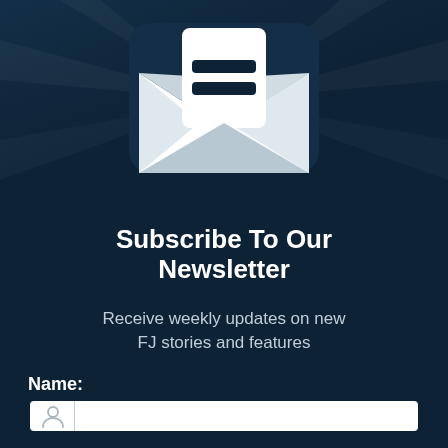[Figure (illustration): Newsletter subscription icon: white envelope with letter/document inside on dark navy background with diagonal light rays]
Subscribe To Our Newsletter
Receive weekly updates on new FJ stories and features
Name:
[Figure (other): Name input field with person icon and vertical divider on white background]
Email:
[Figure (other): Email input field (partially visible) at bottom of page]